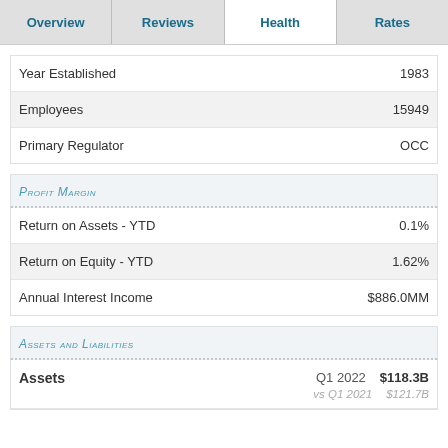Overview | Reviews | Health | Rates
|  |  |
| --- | --- |
| Year Established | 1983 |
| Employees | 15949 |
| Primary Regulator | OCC |
Profit Margin
|  |  |
| --- | --- |
| Return on Assets - YTD | 0.1% |
| Return on Equity - YTD | 1.62% |
| Annual Interest Income | $886.0MM |
Assets and Liabilities
|  | Q1 2022 | $118.3B |
| --- | --- | --- |
| Assets | Q1 2022 | $118.3B |
|  | vs Q1 2021 | $121.7B |